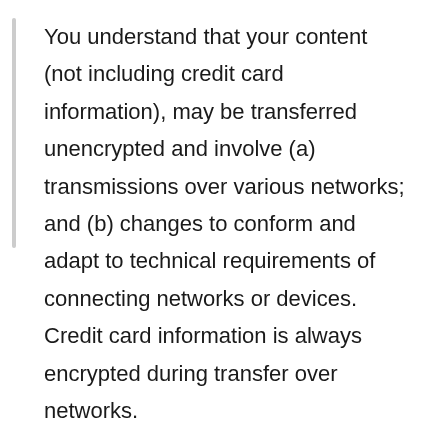You understand that your content (not including credit card information), may be transferred unencrypted and involve (a) transmissions over various networks; and (b) changes to conform and adapt to technical requirements of connecting networks or devices. Credit card information is always encrypted during transfer over networks.
You agree not to reproduce, duplicate, copy, sell, resell or exploit any portion of the Service, use of the Service, or access to the Service or any contact on the website through which the service is provided, without express written permission by us.